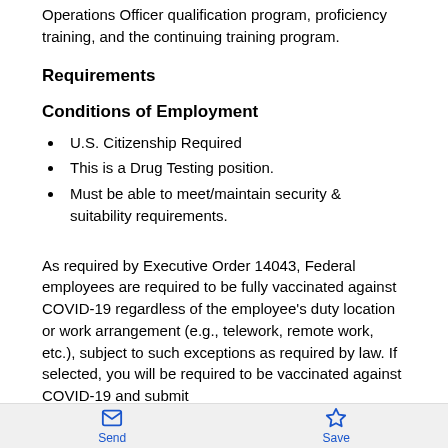Operations Officer qualification program, proficiency training, and the continuing training program.
Requirements
Conditions of Employment
U.S. Citizenship Required
This is a Drug Testing position.
Must be able to meet/maintain security & suitability requirements.
As required by Executive Order 14043, Federal employees are required to be fully vaccinated against COVID-19 regardless of the employee's duty location or work arrangement (e.g., telework, remote work, etc.), subject to such exceptions as required by law. If selected, you will be required to be vaccinated against COVID-19 and submit...
Send   Save